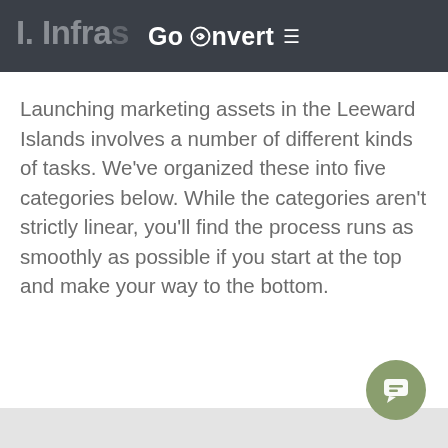GoConvert ≡
I. Infra...
Launching marketing assets in the Leeward Islands involves a number of different kinds of tasks. We've organized these into five categories below. While the categories aren't strictly linear, you'll find the process runs as smoothly as possible if you start at the top and make your way to the bottom.